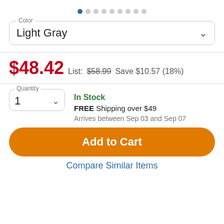[Figure (other): Image carousel dot indicators: 9 dots, first one filled blue, rest gray]
Color — Light Gray (dropdown)
$48.42  List: $58.99  Save $10.57 (18%)
Quantity: 1 (dropdown)  In Stock  FREE Shipping over $49  Arrives between Sep 03 and Sep 07
Add to Cart
Compare Similar Items